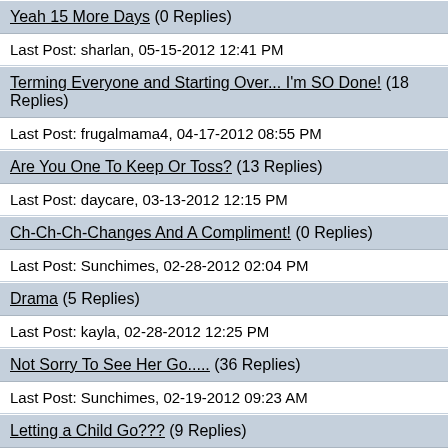Yeah 15 More Days (0 Replies)
Last Post: sharlan, 05-15-2012 12:41 PM
Terming Everyone and Starting Over... I'm SO Done! (18 Replies)
Last Post: frugalmama4, 04-17-2012 08:55 PM
Are You One To Keep Or Toss? (13 Replies)
Last Post: daycare, 03-13-2012 12:15 PM
Ch-Ch-Ch-Changes And A Compliment! (0 Replies)
Last Post: Sunchimes, 02-28-2012 02:04 PM
Drama (5 Replies)
Last Post: kayla, 02-28-2012 12:25 PM
Not Sorry To See Her Go..... (36 Replies)
Last Post: Sunchimes, 02-19-2012 09:23 AM
Letting a Child Go??? (9 Replies)
Last Post: busymommy0420, 01-18-2012 11:22 AM
Fickle DCM (2 Replies)
Last Post: melskids, 01-10-2012 06:34 AM
Thinking Of Terming... Maybe....What Should I Do!! (25 Replies)
Last Post: Blackcat31, 01-07-2012 05:31 PM
When Is Enough Enough (10 Replies)